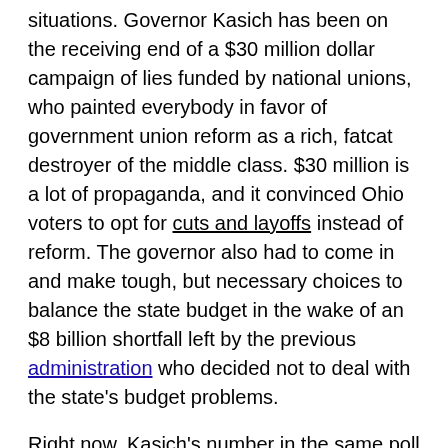situations. Governor Kasich has been on the receiving end of a $30 million dollar campaign of lies funded by national unions, who painted everybody in favor of government union reform as a rich, fatcat destroyer of the middle class. $30 million is a lot of propaganda, and it convinced Ohio voters to opt for cuts and layoffs instead of reform. The governor also had to come in and make tough, but necessary choices to balance the state budget in the wake of an $8 billion shortfall left by the previous administration who decided not to deal with the state's budget problems.
Right now, Kasich's number in the same poll are 38 approve/50 disapprove (-12). Democrats have been pushing a narrative that Kasich will hurt the GOP's chances in the state, and help Obama. But the numbers tell a different story. Obama is still further under water, and more Ohioans disapprove of Barack Obama than disapprove of Governor Kasich.